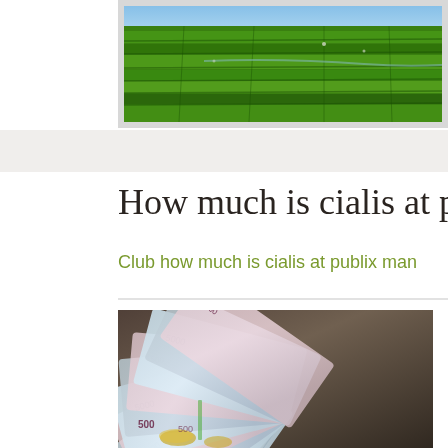[Figure (photo): Aerial photo of green terraced fields/farmland viewed from above, with a frame/border]
How much is cialis at publix
Club how much is cialis at publix man
[Figure (photo): Photo of a fan of Russian ruble banknotes spread out on a surface]